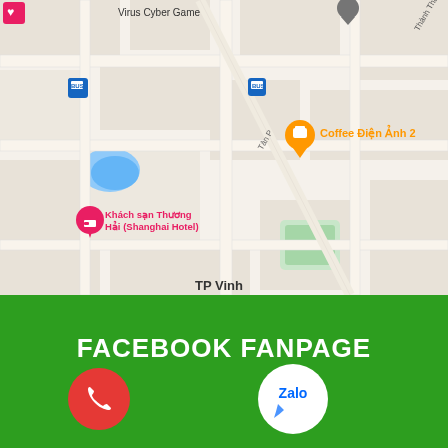[Figure (map): Google Maps screenshot showing streets in Vinh, Vietnam area with labels: Virus Cyber Game, Coffee Điện Ảnh 2, Khách sạn Thương Hải (Shanghai Hotel), Khách sạn Toàn Thắng Stone TP Vinh Nghệ, HƯG PHÚC, Yên Phúc, Yên Bình, bus stop icons, Thành Thái, Tân Phúc streets]
FACEBOOK FANPAGE
[Figure (illustration): Red phone call button circle icon]
[Figure (illustration): Zalo app white circle button with blue Zalo text and chat bubble icon]